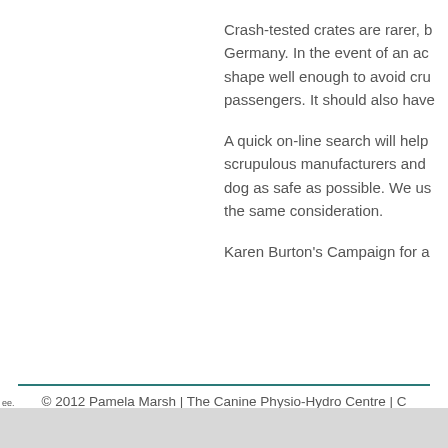Crash-tested crates are rarer, but are available in Germany. In the event of an accident, a crate must hold its shape well enough to avoid crushing the dog or other passengers. It should also have
A quick on-line search will help you weed out the less scrupulous manufacturers and retailers in keeping your dog as safe as possible. We use the same consideration.
Karen Burton’s Campaign for a
© 2012 Pamela Marsh | The Canine Physio-Hydro Centre | C